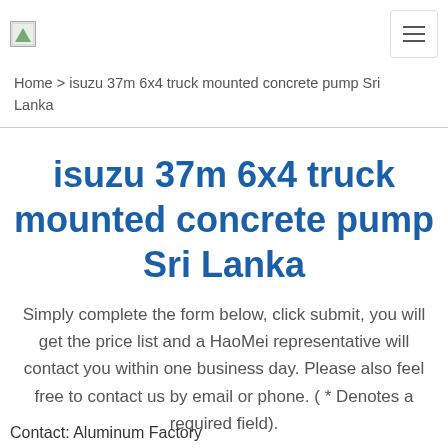Home > isuzu 37m 6x4 truck mounted concrete pump Sri Lanka
isuzu 37m 6x4 truck mounted concrete pump Sri Lanka
Simply complete the form below, click submit, you will get the price list and a HaoMei representative will contact you within one business day. Please also feel free to contact us by email or phone. ( * Denotes a required field).
Contact: Aluminum Factory